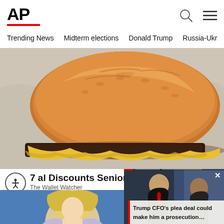[Figure (logo): AP (Associated Press) logo in bold black with red underline bar]
Trending News  Midterm elections  Donald Trump  Russia-Ukr
[Figure (photo): Close-up photo of a cheeseburger with melted cheese on parchment paper]
7 al Discounts Seniors Ge
The Wallet Watcher
[Figure (photo): Thumbnail photo of Donald Trump and another man in suits, with a red progress bar overlay]
Trump CFO’s plea deal could make him a prosecution…
[Figure (photo): Bottom thumbnail showing a woman with blonde hair on a blue background]